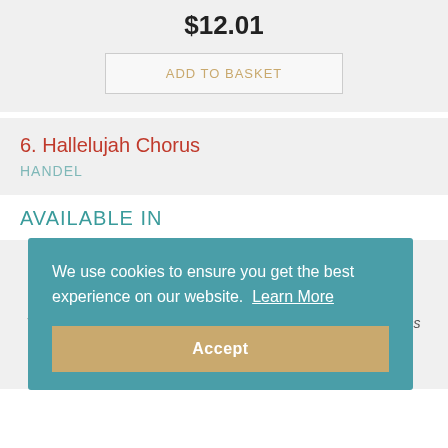$12.01
ADD TO BASKET
6. Hallelujah Chorus
HANDEL
AVAILABLE IN
[Figure (photo): Album cover image with geometric shapes in purple, gold, and dark blue tones]
Winners Galore for Treble Brass (treble clef) (Book only) (Brass Wind)
$12.01
We use cookies to ensure you get the best experience on our website. Learn More
Accept